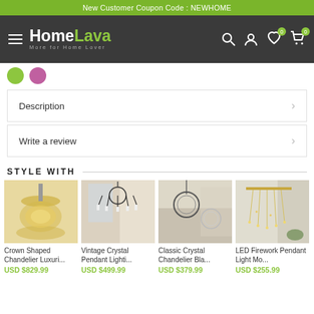New Customer Coupon Code : NEWHOME
[Figure (logo): HomeLava logo with tagline 'More for Home Lover' on dark navigation bar with hamburger menu, search, account, wishlist and cart icons]
Description
Write a review
STYLE WITH
[Figure (photo): Crown Shaped Chandelier Luxuri... - gold crystal chandelier]
Crown Shaped Chandelier Luxuri...
USD $829.99
[Figure (photo): Vintage Crystal Pendant Lighti... - black candle chandelier in living room]
Vintage Crystal Pendant Lighti...
USD $499.99
[Figure (photo): Classic Crystal Chandelier Bla... - circular chandelier in room]
Classic Crystal Chandelier Bla...
USD $379.99
[Figure (photo): LED Firework Pendant Light Mo... - crystal pendant light]
LED Firework Pendant Light Mo...
USD $255.99